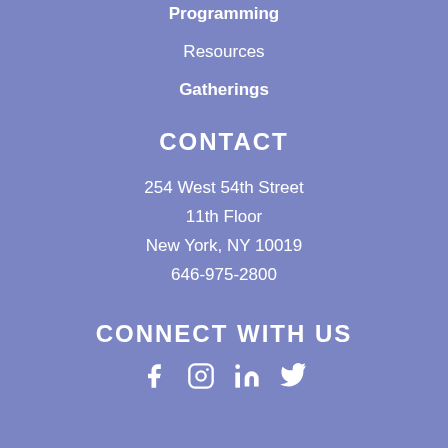Programming
Resources
Gatherings
CONTACT
254 West 54th Street
11th Floor
New York, NY 10019
646-975-2800
CONNECT WITH US
[Figure (infographic): Social media icons: Facebook, Instagram, LinkedIn, Twitter]